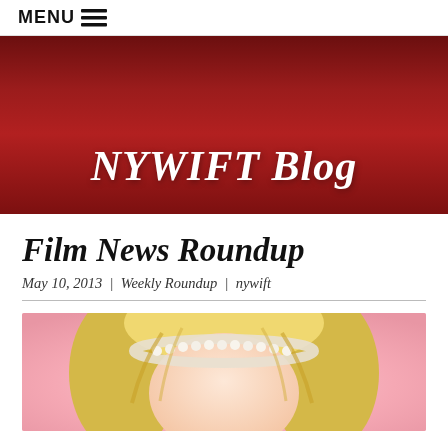MENU ≡
[Figure (illustration): Red gradient banner with NYWIFT Blog title in white italic serif font]
Film News Roundup
May 10, 2013  |  Weekly Roundup  |  nywift
[Figure (photo): Photo of a blonde woman wearing a pearl headband against a pink background, cropped at the top of the frame]